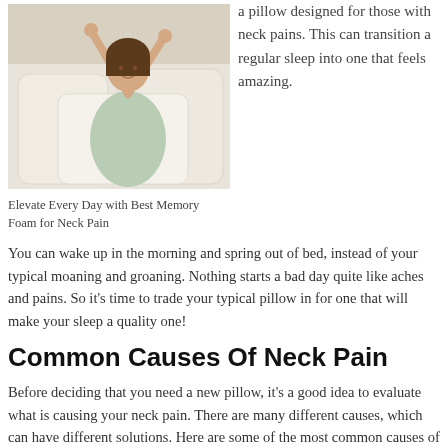[Figure (photo): Woman sitting on bed with white pillows, stretching her arms above her head, wearing a light green outfit]
a pillow designed for those with neck pains. This can transition a regular sleep into one that feels amazing.
Elevate Every Day with Best Memory Foam for Neck Pain
You can wake up in the morning and spring out of bed, instead of your typical moaning and groaning. Nothing starts a bad day quite like aches and pains. So it's time to trade your typical pillow in for one that will make your sleep a quality one!
Common Causes Of Neck Pain
Before deciding that you need a new pillow, it's a good idea to evaluate what is causing your neck pain. There are many different causes, which can have different solutions. Here are some of the most common causes of neck pain: